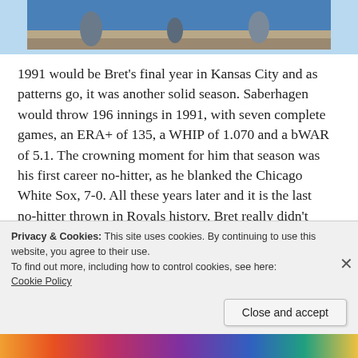[Figure (photo): Baseball game photo showing players on a field, cropped at top]
1991 would be Bret's final year in Kansas City and as patterns go, it was another solid season. Saberhagen would throw 196 innings in 1991, with seven complete games, an ERA+ of 135, a WHIP of 1.070 and a bWAR of 5.1. The crowning moment for him that season was his first career no-hitter, as he blanked the Chicago White Sox, 7-0. All these years later and it is the last no-hitter thrown in Royals history. Bret really didn't think about getting it until about the 7th inning:
Privacy & Cookies: This site uses cookies. By continuing to use this website, you agree to their use.
To find out more, including how to control cookies, see here: Cookie Policy
Close and accept